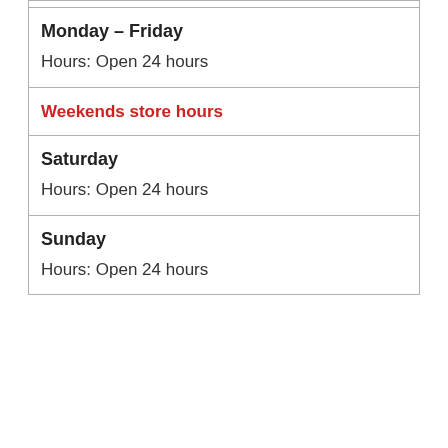| Monday – Friday | Hours:  Open 24 hours |
| Weekends store hours |  |
| Saturday | Hours: Open 24 hours |
| Sunday | Hours: Open 24 hours |